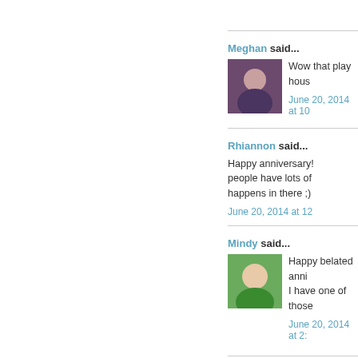Meghan said...
Wow that play hous
June 20, 2014 at 10
Rhiannon said...
Happy anniversary! people have lots of happens in there ;)
June 20, 2014 at 12
Mindy said...
Happy belated anni I have one of those
June 20, 2014 at 2: